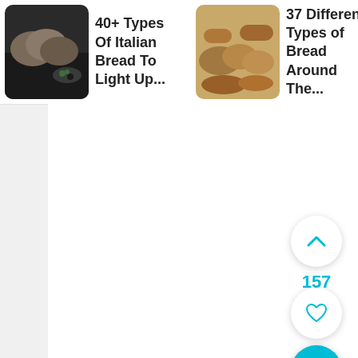[Figure (screenshot): App UI screenshot showing a horizontal scroll row of article cards at top. Card 1: food image with text '40+ Types Of Italian Bread To Light Up...'. Card 2: bread types image with text '37 Different Types of Bread Around The...'. Card 3: Japanese ramen image with text '10+ Tasty Types Of Japanese.' Below is a large white content area. On the right side are floating action buttons: an upvote chevron button, a count of 157 in cyan, a heart/favorite button, and a cyan search button.]